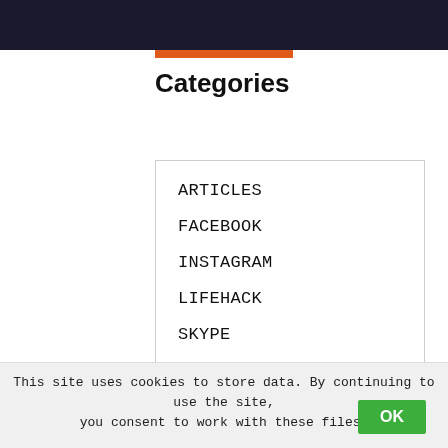[Figure (screenshot): Dark header banner with an orange underline bar below it]
Categories
ARTICLES
FACEBOOK
INSTAGRAM
LIFEHACK
SKYPE
TELEGRAM
TWITCH
This site uses cookies to store data. By continuing to use the site, you consent to work with these files.